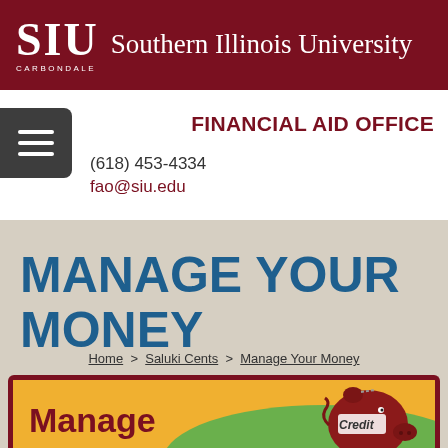SIU Southern Illinois University CARBONDALE
FINANCIAL AID OFFICE
(618) 453-4334
fao@siu.edu
MANAGE YOUR MONEY
Home > Saluki Cents > Manage Your Money
[Figure (illustration): Manage Your Money banner with piggy bank and credit label illustration]